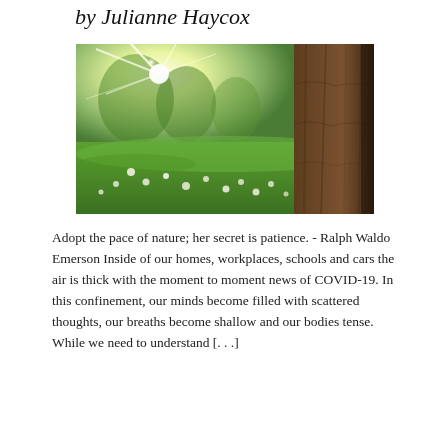by Julianne Haycox
[Figure (photo): Sunlit outdoor nature scene with a large tree trunk on the right, green grass in the foreground, white daisy-like flowers scattered across the lawn, and bright sunlight bursting through trees in the background.]
Adopt the pace of nature; her secret is patience. - Ralph Waldo Emerson Inside of our homes, workplaces, schools and cars the air is thick with the moment to moment news of COVID-19. In this confinement, our minds become filled with scattered thoughts, our breaths become shallow and our bodies tense. While we need to understand [...]